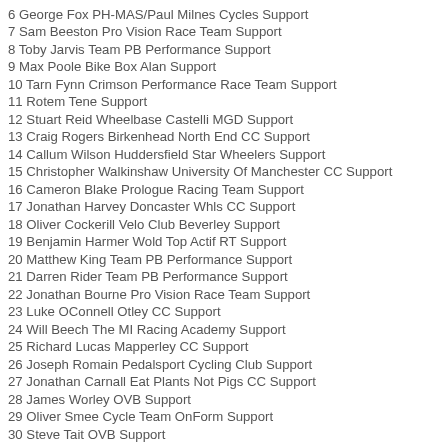6 George Fox PH-MAS/Paul Milnes Cycles Support
7 Sam Beeston Pro Vision Race Team Support
8 Toby Jarvis Team PB Performance Support
9 Max Poole Bike Box Alan Support
10 Tarn Fynn Crimson Performance Race Team Support
11 Rotem Tene Support
12 Stuart Reid Wheelbase Castelli MGD Support
13 Craig Rogers Birkenhead North End CC Support
14 Callum Wilson Huddersfield Star Wheelers Support
15 Christopher Walkinshaw University Of Manchester CC Support
16 Cameron Blake Prologue Racing Team Support
17 Jonathan Harvey Doncaster Whls CC Support
18 Oliver Cockerill Velo Club Beverley Support
19 Benjamin Harmer Wold Top Actif RT Support
20 Matthew King Team PB Performance Support
21 Darren Rider Team PB Performance Support
22 Jonathan Bourne Pro Vision Race Team Support
23 Luke OConnell Otley CC Support
24 Will Beech The MI Racing Academy Support
25 Richard Lucas Mapperley CC Support
26 Joseph Romain Pedalsport Cycling Club Support
27 Jonathan Carnall Eat Plants Not Pigs CC Support
28 James Worley OVB Support
29 Oliver Smee Cycle Team OnForm Support
30 Steve Tait OVB Support